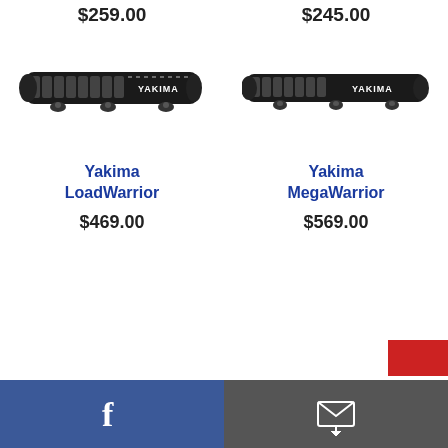$259.00 / $245.00
[Figure (photo): Yakima LoadWarrior roof cargo basket, black metal, rectangular with grid pattern, brand label on side]
[Figure (photo): Yakima MegaWarrior roof cargo basket, black metal, rectangular with grid pattern, brand label on side]
Yakima LoadWarrior
$469.00
Yakima MegaWarrior
$569.00
Facebook icon | Mail/contact icon